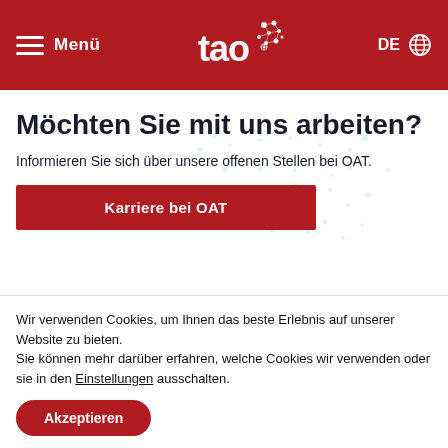Menü | tao [logo] | DE [globe]
Möchten Sie mit uns arbeiten?
Informieren Sie sich über unsere offenen Stellen bei OAT.
Karriere bei OAT
Wir verwenden Cookies, um Ihnen das beste Erlebnis auf unserer Website zu bieten.
Sie können mehr darüber erfahren, welche Cookies wir verwenden oder sie in den Einstellungen ausschalten.
Akzeptieren